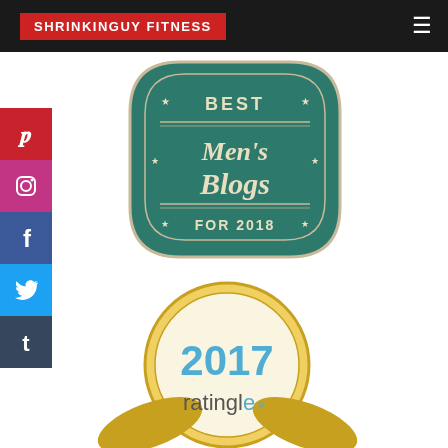SHRINKINGUY FITNESS
[Figure (illustration): Teal badge/seal reading 'BEST Men's Blogs FOR 2018' with decorative stars and lines]
[Figure (logo): 2017 Ratingle award badge — circular gold medallion with '2017' in blue and 'ratingle' in grey text with blue cursor icon]
[Figure (illustration): Social media sidebar icons: Pinterest (red), Instagram (pink/purple), Facebook (blue), Twitter (light blue), Tumblr (dark blue)]